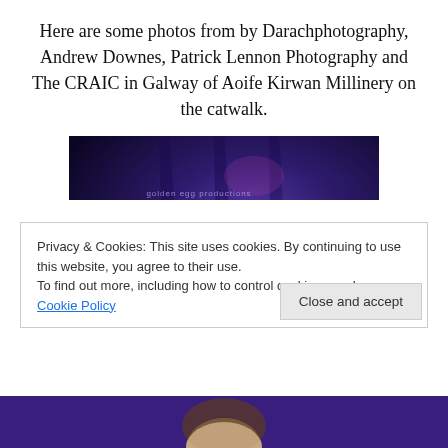Here are some photos from by Darachphotography, Andrew Downes, Patrick Lennon Photography and The CRAIC in Galway of Aoife Kirwan Millinery on the catwalk.
[Figure (photo): Dark blue/purple lit stage backdrop showing text: 'golden egg productions INNOVATION AWARD 2014 sponsored by GALWAY now']
Privacy & Cookies: This site uses cookies. By continuing to use this website, you agree to their use.
To find out more, including how to control cookies, see here: Cookie Policy
Close and accept
[Figure (photo): Partial view of a person at the bottom of the page against a purple background.]